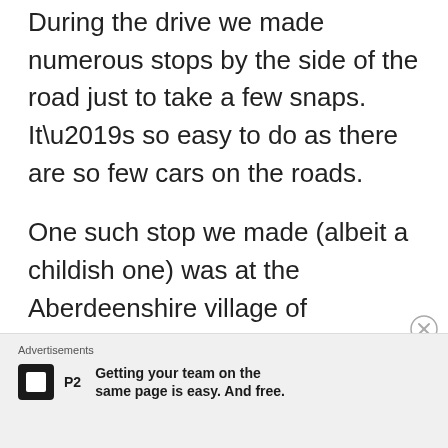During the drive we made numerous stops by the side of the road just to take a few snaps. It’s so easy to do as there are so few cars on the roads.

One such stop we made (albeit a childish one) was at the Aberdeenshire village of Cockbridge! Let’s be clear there is nothing there. Just a bridge with a plague saying “Cockbridge”. There isn’t even a
Advertisements
Getting your team on the same page is easy. And free.